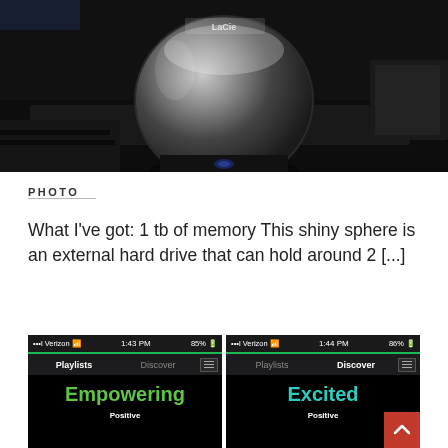[Figure (photo): A shiny silver spherical external hard drive (LaCie) sitting on a dark black surface, photographed close up from above. The sphere reflects the room lights. Text 'LaCie' visible on the sphere.]
PHOTO
What I've got: 1 tb of memory This shiny sphere is an external hard drive that can hold around 2 [...]
[Figure (screenshot): Two smartphone screenshots side by side showing a music app (Spotify-like). Left screenshot: status bar shows 'ull Verizon' signal, '1:43 PM', '85%' battery. Tab bar shows 'Playlists' active (bold white) and 'Discover' (gray), with menu icon. Main area shows 'Empowering' in green bold text and 'Positive' below in white. Right screenshot: status bar shows 'ull Verizon' signal, '1:44 PM', '86%' battery. Tab bar shows 'Playlists' (gray) and 'Discover' active (bold white), with menu icon. Main area shows 'Excited' in cyan/teal bold text and 'Positive' below in white. Red scroll-up button visible in bottom right corner.]